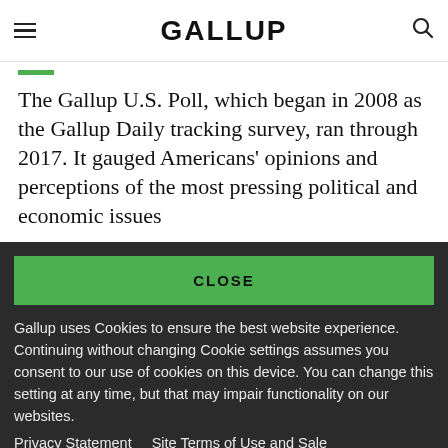GALLUP
The Gallup U.S. Poll, which began in 2008 as the Gallup Daily tracking survey, ran through 2017. It gauged Americans' opinions and perceptions of the most pressing political and economic issues
CLOSE
Gallup uses Cookies to ensure the best website experience. Continuing without changing Cookie settings assumes you consent to our use of cookies on this device. You can change this setting at any time, but that may impair functionality on our websites.
Privacy Statement   Site Terms of Use and Sale
Product Terms of Use   Adjust your cookie settings.